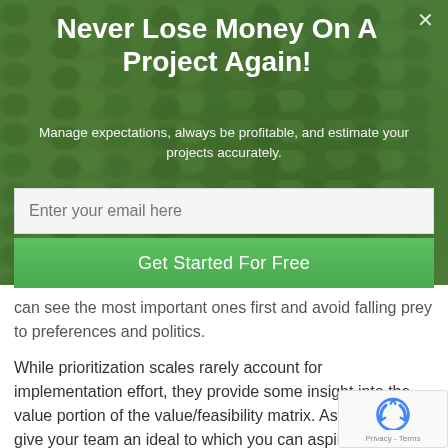Never Lose Money On A Project Again!
Manage expectations, always be profitable, and estimate your projects accurately.
Enter your email here
Get Started For Free
can see the most important ones first and avoid falling prey to preferences and politics.
While prioritization scales rarely account for implementation effort, they provide some insight into the value portion of the value/feasibility matrix. As such, they give your team an ideal to which you can aspire.
As Dan Cook concludes, your team can adopt this